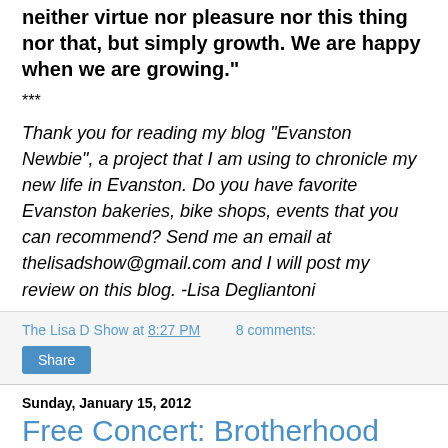neither virtue nor pleasure nor this thing nor that, but simply growth. We are happy when we are growing."
***
Thank you for reading my blog "Evanston Newbie", a project that I am using to chronicle my new life in Evanston. Do you have favorite Evanston bakeries, bike shops, events that you can recommend? Send me an email at thelisadshow@gmail.com and I will post my review on this blog. -Lisa Degliantoni
The Lisa D Show at 8:27 PM   8 comments:
Share
Sunday, January 15, 2012
Free Concert: Brotherhood Chorale
[Figure (photo): Group photo of people in formal attire, appearing to be the Brotherhood Chorale choir group]